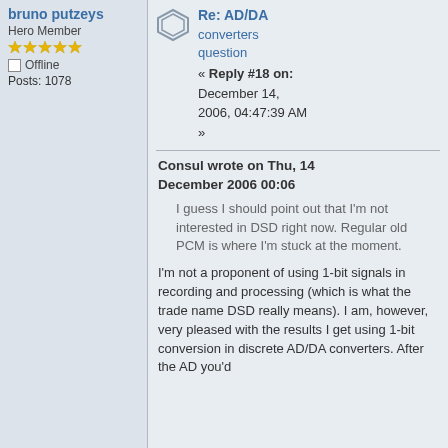bruno putzeys
Hero Member
★★★★★
Offline
Posts: 1078
Re: AD/DA converters question
« Reply #18 on: December 14, 2006, 04:47:39 AM »
Consul wrote on Thu, 14 December 2006 00:06
I guess I should point out that I'm not interested in DSD right now. Regular old PCM is where I'm stuck at the moment.
I'm not a proponent of using 1-bit signals in recording and processing (which is what the trade name DSD really means). I am, however, very pleased with the results I get using 1-bit conversion in discrete AD/DA converters. After the AD you'd